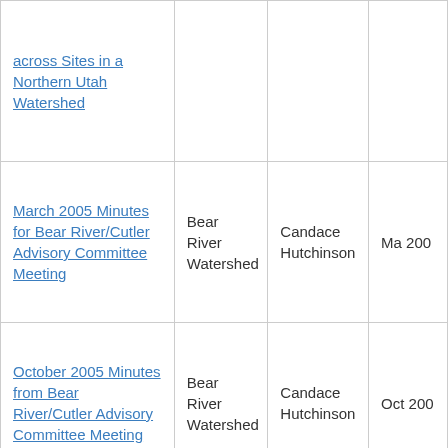| Title | Watershed | Author | Date |
| --- | --- | --- | --- |
| across Sites in a Northern Utah Watershed |  |  |  |
| March 2005 Minutes for Bear River/Cutler Advisory Committee Meeting | Bear River Watershed | Candace Hutchinson | Ma 200 |
| October 2005 Minutes from Bear River/Cutler Advisory Committee Meeting | Bear River Watershed | Candace Hutchinson | Oct 200 |
| Overview and Concluding Report Bear River Targeted... | Bear River |  |  |